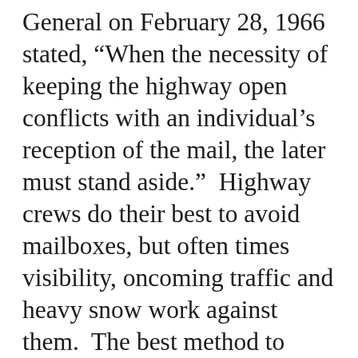General on February 28, 1966 stated, “When the necessity of keeping the highway open conflicts with an individual’s reception of the mail, the later must stand aside.”  Highway crews do their best to avoid mailboxes, but often times visibility, oncoming traffic and heavy snow work against them.  The best method to protect your mailbox during the winter months is to ensure it is properly attached to the post and to keep the mailbox assembly simple to limit impact surface area for blowing snow. Our